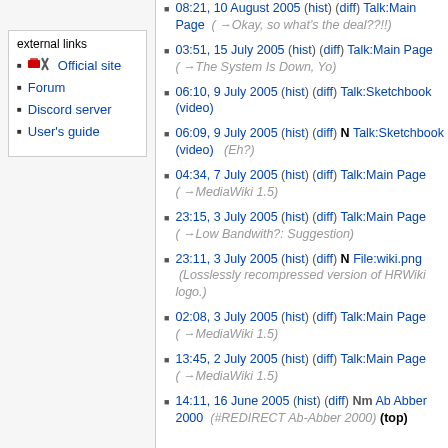external links
Official site
Forum
Discord server
User's guide
08:21, 10 August 2005 (hist) (diff) Talk:Main Page  (→Okay, so what's the deal??!!)
03:51, 15 July 2005 (hist) (diff) Talk:Main Page  (→The System Is Down, Yo)
06:10, 9 July 2005 (hist) (diff) Talk:Sketchbook (video)
06:09, 9 July 2005 (hist) (diff) N Talk:Sketchbook (video)  (Eh?)
04:34, 7 July 2005 (hist) (diff) Talk:Main Page  (→MediaWiki 1.5)
23:15, 3 July 2005 (hist) (diff) Talk:Main Page  (→Low Bandwith?: Suggestion)
23:11, 3 July 2005 (hist) (diff) N File:wiki.png  (Losslessly recompressed version of HRWiki logo.)
02:08, 3 July 2005 (hist) (diff) Talk:Main Page  (→MediaWiki 1.5)
13:45, 2 July 2005 (hist) (diff) Talk:Main Page  (→MediaWiki 1.5)
14:11, 16 June 2005 (hist) (diff) Nm Ab Abber 2000  (#REDIRECT Ab-Abber 2000) (top)